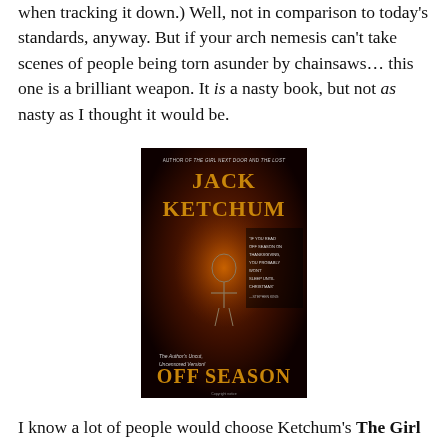when tracking it down.) Well, not in comparison to today's standards, anyway. But if your arch nemesis can't take scenes of people being torn asunder by chainsaws… this one is a brilliant weapon. It is a nasty book, but not as nasty as I thought it would be.
[Figure (photo): Book cover of 'Off Season' by Jack Ketchum. Dark cover with orange/red tones showing a dungeon-like scene with a skeleton. Text reads: Author of The Girl Next Door and The Lost. Jack Ketchum. Off Season. The Author's Uncut, Uncensored Version! Quote: 'If you read Off Season on Thanksgiving, you probably won't sleep until Christmas' — Stephen King.]
I know a lot of people would choose Ketchum's The Girl